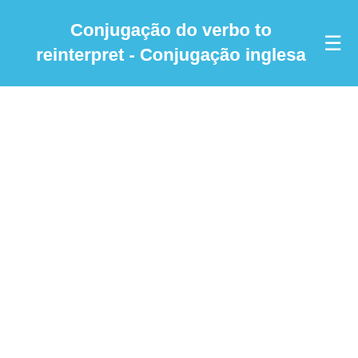Conjugação do verbo to reinterpret - Conjugação inglesa